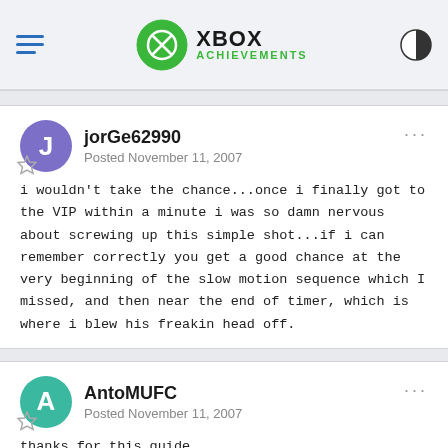XBOX ACHIEVEMENTS
jorGe62990
Posted November 11, 2007
i wouldn't take the chance...once i finally got to the VIP within a minute i was so damn nervous about screwing up this simple shot...if i can remember correctly you get a good chance at the very beginning of the slow motion sequence which I missed, and then near the end of timer, which is where i blew his freakin head off.
AntoMUFC
Posted November 11, 2007
thanks for this guide,